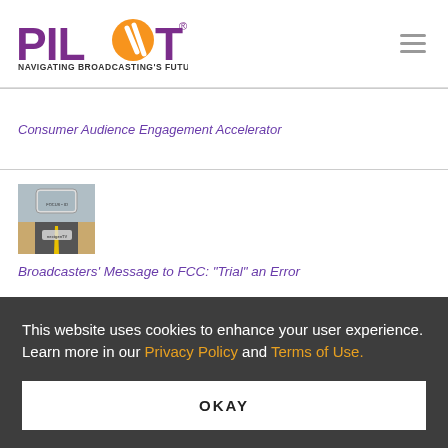[Figure (logo): PILOT logo with orange circle and text NAVIGATING BROADCASTING'S FUTURE]
Consumer Audience Engagement Accelerator
[Figure (photo): Road viewed from rear-view mirror, NextGenTV related image]
Broadcasters' Message to FCC: "Trial" an Error
This website uses cookies to enhance your user experience. Learn more in our Privacy Policy and Terms of Use.
OKAY